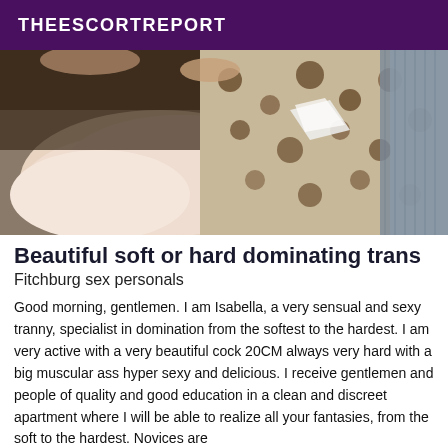THEESCORTREPORT
[Figure (photo): A photo showing a person lying on a bed with fluffy pink/cream pillows and patterned bedding in brown and white tones; a blue textured surface is visible at the right edge.]
Beautiful soft or hard dominating trans
Fitchburg sex personals
Good morning, gentlemen. I am Isabella, a very sensual and sexy tranny, specialist in domination from the softest to the hardest. I am very active with a very beautiful cock 20CM always very hard with a big muscular ass hyper sexy and delicious. I receive gentlemen and people of quality and good education in a clean and discreet apartment where I will be able to realize all your fantasies, from the soft to the hardest. Novices are